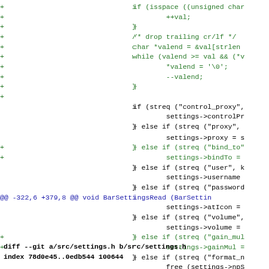Code diff showing additions (green +) and context lines (black), with a hunk header in blue, and a diff --git footer line.